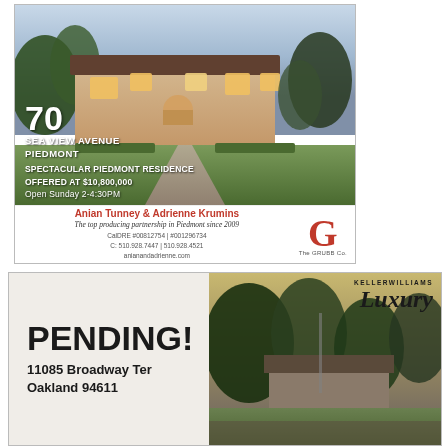[Figure (photo): Luxury Piedmont residence exterior at dusk with illuminated facade, driveway, and landscaping]
70 SEA VIEW AVENUE PIEDMONT
SPECTACULAR PIEDMONT RESIDENCE OFFERED AT $10,800,000
Open Sunday 2-4:30PM
Anian Tunney & Adrienne Krumins
The top producing partnership in Piedmont since 2009
CalDRE #00812754 | #001296734
C: 510.928.7447 | 510.928.4521
anianandadrienne.com
[Figure (logo): The GRUBB Co. logo with large red G]
[Figure (photo): Pending property at 11085 Broadway Ter Oakland 94611 with house and trees at dusk]
PENDING!
11085 Broadway Ter
Oakland 94611
[Figure (logo): Keller Williams Luxury logo]